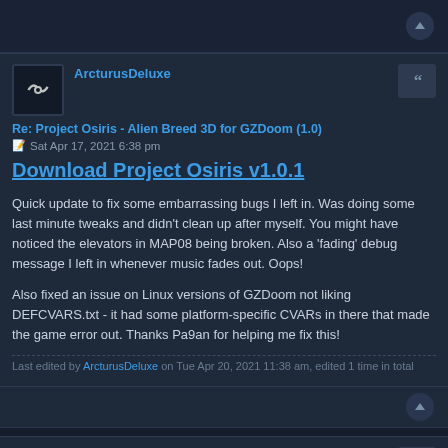Top bar area with scroll button
ArcturusDeluxe
Re: Project Osiris - Alien Breed 3D for GZDoom (1.0)
Sat Apr 17, 2021 6:38 pm
Download Project Osiris v1.0.1
Quick update to fix some embarrassing bugs I left in. Was doing some last minute tweaks and didn't clean up after myself. You might have noticed the elevators in MAP08 being broken. Also a 'fading' debug message I left in whenever music fades out. Oops!
Also fixed an issue on Linux versions of GZDoom not liking DEFCVARS.txt - it had some platform-specific CVARs in there that made the game error out. Thanks Pa9an for helping me fix this!
Last edited by ArcturusDeluxe on Tue Apr 20, 2021 11:38 am, edited 1 time in total
aconike
Re: Project Osiris - Alien Breed 3D for GZDoom (1.0.1)